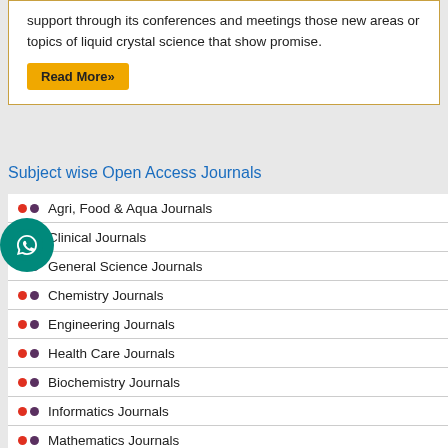support through its conferences and meetings those new areas or topics of liquid crystal science that show promise.
Read More»
Subject wise Open Access Journals
Agri, Food & Aqua Journals
Clinical Journals
General Science Journals
Chemistry Journals
Engineering Journals
Health Care Journals
Biochemistry Journals
Informatics Journals
Mathematics Journals
Material Sciences Journals
Physics Journals
Veterinary Sciences Journals
Chemical Engineering Journals